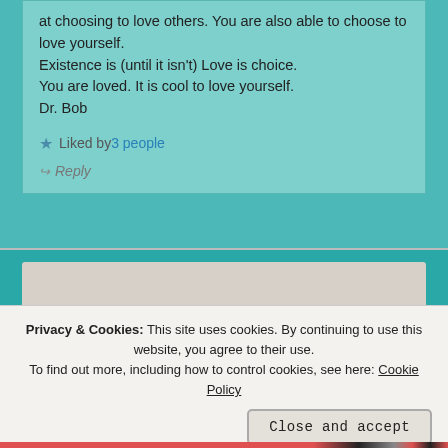at choosing to love others. You are also able to choose to love yourself.
Existence is (until it isn't) Love is choice.
You are loved. It is cool to love yourself.
Dr. Bob
★ Liked by 3 people
↪ Reply
[Figure (screenshot): Bottom section of a blog page with a teal background and a cookie consent banner overlay showing privacy and cookie policy notice with a close and accept button.]
Privacy & Cookies: This site uses cookies. By continuing to use this website, you agree to their use.
To find out more, including how to control cookies, see here: Cookie Policy
Close and accept